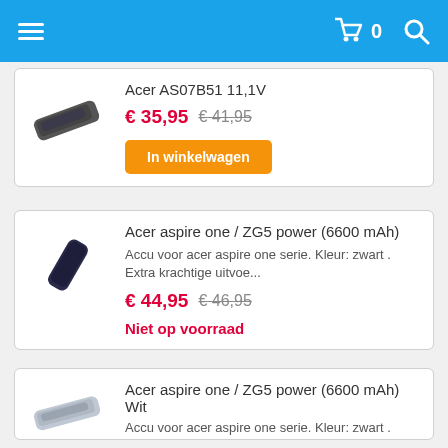Navigation header with menu, cart (0), and search icons
[Figure (photo): Product image of Acer AS07B51 battery (dark colored laptop battery)]
Acer AS07B51 11,1V
€ 35,95 € 41,95
In winkelwagen
[Figure (photo): Product image of Acer aspire one ZG5 black battery (cylindrical black battery)]
Acer aspire one / ZG5 power (6600 mAh)
Accu voor acer aspire one serie. Kleur: zwart . Extra krachtige uitvoe...
€ 44,95 € 46,95
Niet op voorraad
[Figure (photo): Product image of Acer aspire one ZG5 white battery (silver/white laptop battery)]
Acer aspire one / ZG5 power (6600 mAh) Wit
Accu voor acer aspire one serie. Kleur: zwart . Extra krachtige uitvoe...